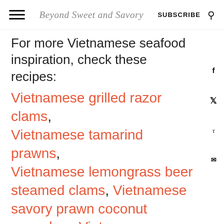Beyond Sweet and Savory | SUBSCRIBE
For more Vietnamese seafood inspiration, check these recipes:
Vietnamese grilled razor clams, Vietnamese tamarind prawns, Vietnamese lemongrass beer steamed clams, Vietnamese savory prawn coconut pancakes, Vietnamese prawn sweet potato fritters.